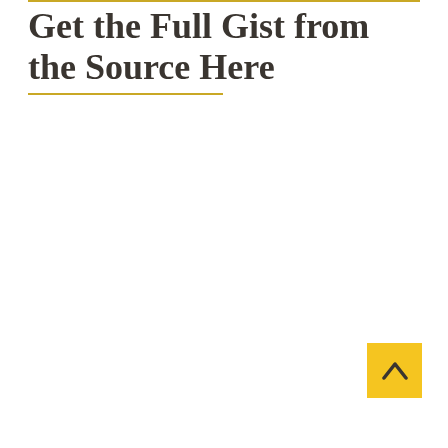Get the Full Gist from the Source Here